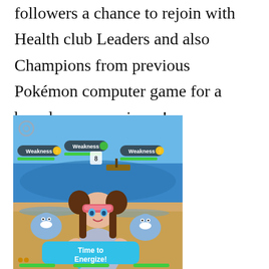followers a chance to rejoin with Health club Leaders and also Champions from previous Pokémon computer game for a brand new experience!
[Figure (screenshot): Screenshot of a Pokémon mobile game showing a female trainer character on a beach with several Pokémon. Three 'Weakness' indicators with yellow lightning bolt icons and green HP bars are visible at the top. A blue speech bubble at the bottom reads 'Time to Energize!' Green HP bars appear at the very bottom of the screen.]